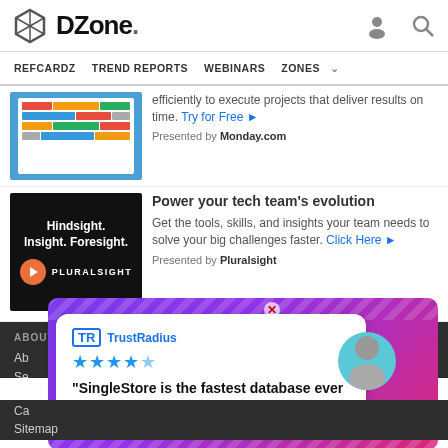DZone. REFCARDZ  TREND REPORTS  WEBINARS  ZONES
efficiently to execute projects that deliver results on time. Try for Free ►
Presented by Monday.com
[Figure (screenshot): Dashboard/project management UI screenshot with colorful task grid on blue background]
Power your tech team's evolution
Get the tools, skills, and insights your team needs to solve your big challenges faster. Click Here ►
Presented by Pluralsight
[Figure (logo): Pluralsight ad: Hindsight. Insight. Foresight. with Pluralsight logo on black background]
ABOUT US
Ab...
Se...
Ca...
Sitemap
[Figure (screenshot): TrustRadius popup overlay: 'SingleStore is the fastest database ever tested by us. 10/10.' with star rating and avatar, on purple/pink gradient background]